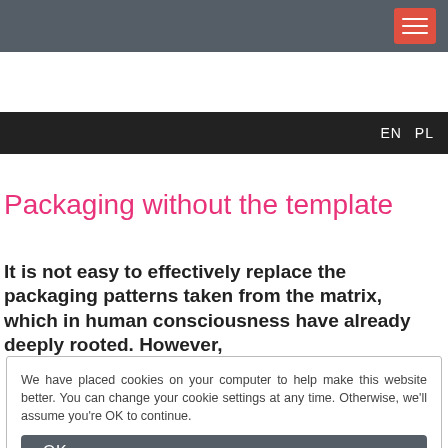Navigation bar with hamburger menu button
EN  PL
Packaging without the template
It is not easy to effectively replace the packaging patterns taken from the matrix, which in human consciousness have already deeply rooted. However,
We have placed cookies on your computer to help make this website better. You can change your cookie settings at any time. Otherwise, we'll assume you're OK to continue.